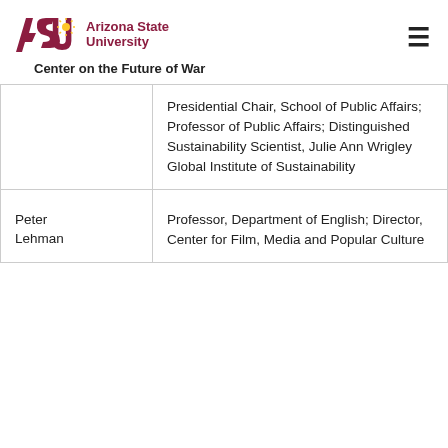ASU Arizona State University | Center on the Future of War
| Name | Role |
| --- | --- |
|  | Presidential Chair, School of Public Affairs; Professor of Public Affairs; Distinguished Sustainability Scientist, Julie Ann Wrigley Global Institute of Sustainability |
| Peter Lehman | Professor, Department of English; Director, Center for Film, Media and Popular Culture |